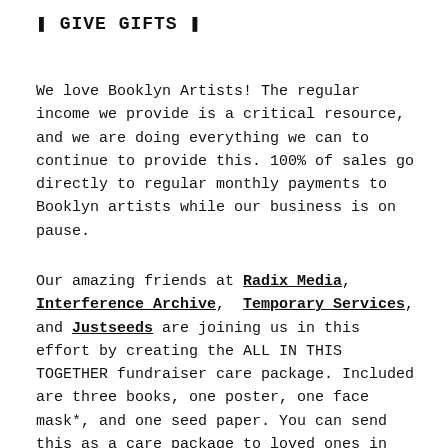❚ GIVE GIFTS ❚
We love Booklyn Artists! The regular income we provide is a critical resource, and we are doing everything we can to continue to provide this. 100% of sales go directly to regular monthly payments to Booklyn artists while our business is on pause.
Our amazing friends at Radix Media, Interference Archive, Temporary Services, and Justseeds are joining us in this effort by creating the ALL IN THIS TOGETHER fundraiser care package. Included are three books, one poster, one face mask*, and one seed paper. You can send this as a care package to loved ones in quarantine, or to yourself.